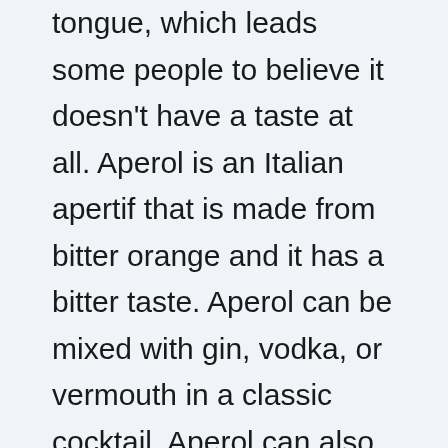tongue, which leads some people to believe it doesn't have a taste at all. Aperol is an Italian apertif that is made from bitter orange and it has a bitter taste. Aperol can be mixed with gin, vodka, or vermouth in a classic cocktail. Aperol can also be mixed with sparkling wine for a refreshing drink on a hot summer day. Aperol is an Italian apertif that is made from bitter orange and it has a bitter taste. Aperol can be mixed with